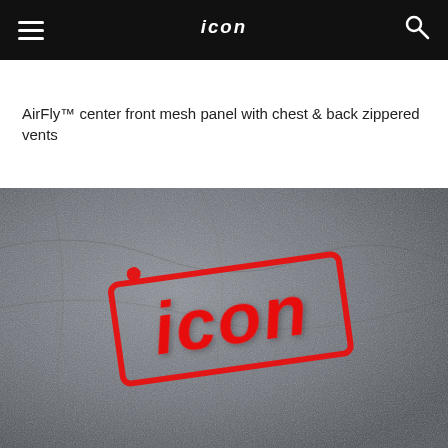ICON navigation bar with hamburger menu, ICON logo, and search icon
AirFly™ center front mesh panel with chest & back zippered vents
[Figure (photo): Close-up photo of a grey textile/mesh fabric with a large red ICON brand logo printed/embroidered on it. The logo is in a bold italic style with rectangular outlines around each letter.]